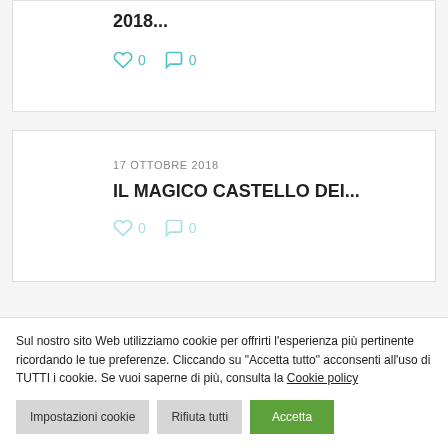2018...
♡ 0   💬 0
17 OTTOBRE 2018
IL MAGICO CASTELLO DEI...
Sul nostro sito Web utilizziamo cookie per offrirti l'esperienza più pertinente ricordando le tue preferenze. Cliccando su "Accetta tutto" acconsenti all'uso di TUTTI i cookie. Se vuoi saperne di più, consulta la Cookie policy
Impostazioni cookie  Rifiuta tutti  Accetta